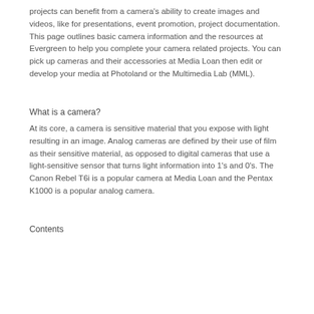projects can benefit from a camera's ability to create images and videos, like for presentations, event promotion, project documentation. This page outlines basic camera information and the resources at Evergreen to help you complete your camera related projects. You can pick up cameras and their accessories at Media Loan then edit or develop your media at Photoland or the Multimedia Lab (MML).
What is a camera?
At its core, a camera is sensitive material that you expose with light resulting in an image. Analog cameras are defined by their use of film as their sensitive material, as opposed to digital cameras that use a light-sensitive sensor that turns light information into 1's and 0's. The Canon Rebel T6i is a popular camera at Media Loan and the Pentax K1000 is a popular analog camera.
Contents